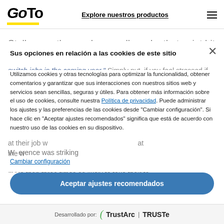GoTo | Explore nuestros productos
Stolle says the numbers really make that point hit home. "We found that more than two out of five switch jobs in the coming year." Simply put, if you feel stressed at their job w... at the best of times, the stressed-out cohort we... more than three times as likely to take their ta...
Sus opciones en relación a las cookies de este sitio
Utilizamos cookies y otras tecnologías para optimizar la funcionalidad, obtener comentarios y garantizar que sus interacciones con nuestros sitios web y servicios sean sencillas, seguras y útiles. Para obtener más información sobre el uso de cookies, consulte nuestra Política de privacidad. Puede administrar los ajustes y las preferencias de las cookies desde "Cambiar configuración". Si hace clic en "Aceptar ajustes recomendados" significa que está de acuerdo con nuestro uso de las cookies en su dispositivo.
Cambiar configuración
Aceptar ajustes recomendados
Desarrollado por: TrustArc | TRUSTe